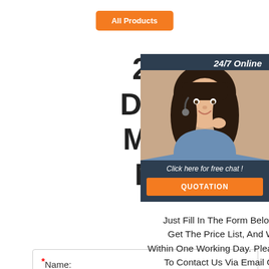All Products
20 Years Factory Directly Auto Duct Making Fabrication Machine Made
[Figure (photo): Customer service representative with headset, smiling. Overlay shows '24/7 Online', 'Click here for free chat!', and 'QUOTATION' button on dark blue background.]
Just Fill In The Form Below, Click Submit, Get The Price List, And We Will Contact You Within One Working Day. Please Also Feel Free To Contact Us Via Email Or Phone. (* Is Required).
* Name: